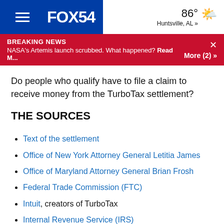FOX54 | 86° Huntsville, AL »
BREAKING NEWS
NASA's Artemis launch scrubbed. What happened? Read M... More (2) »
Do people who qualify have to file a claim to receive money from the TurboTax settlement?
THE SOURCES
Text of the settlement
Office of New York Attorney General Letitia James
Office of Maryland Attorney General Brian Frosh
Federal Trade Commission (FTC)
Intuit, creators of TurboTax
Internal Revenue Service (IRS)